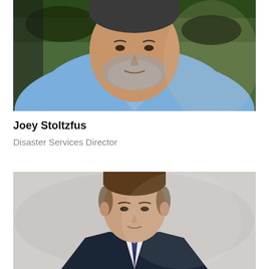[Figure (photo): Portrait photo of Joey Stoltzfus, a middle-aged man with gray beard, wearing a light blue t-shirt, photographed outdoors with green foliage in background.]
Joey Stoltzfus
Disaster Services Director
[Figure (photo): Portrait photo of a younger man with short brown hair, wearing a dark suit, photographed against a gray background.]